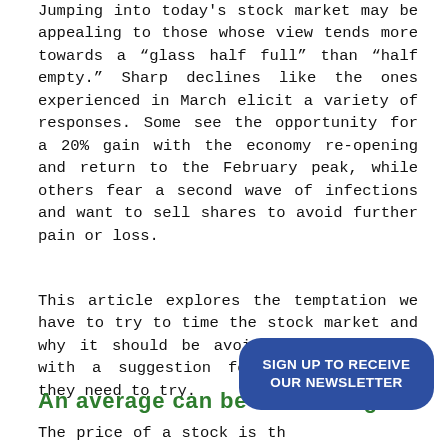Jumping into today's stock market may be appealing to those whose view tends more towards a “glass half full” than “half empty.” Sharp declines like the ones experienced in March elicit a variety of responses. Some see the opportunity for a 20% gain with the economy re-opening and return to the February peak, while others fear a second wave of infections and want to sell shares to avoid further pain or loss.
This article explores the temptation we have to try to time the stock market and why it should be avoided. It concludes with a suggestion for those who feel they need to try.
An average can be misleading
The price of a stock is the... sellers and buyers. It does not imply that the